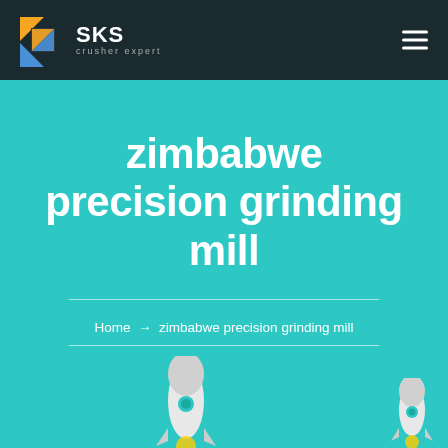SKS crusher expert
zimbabwe precision grinding mill
Home → zimbabwe precision grinding mill
[Figure (illustration): Two decorative rocket illustrations at the bottom of the teal hero section — one larger rocket in the center-bottom and one smaller rocket at the bottom-right corner.]